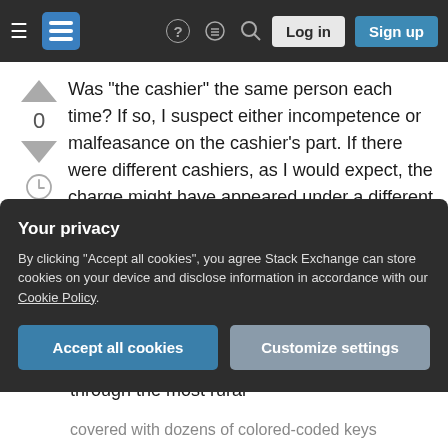[Figure (screenshot): Stack Exchange navigation bar with hamburger menu, logo, help icon, chat icon, search icon, Log in and Sign up buttons]
Was "the cashier" the same person each time? If so, I suspect either incompetence or malfeasance on the cashier's part. If there were different cashiers, as I would expect, the charge might have appeared under a different name and with a fee that—however small—threw off searches by amount.
I have a story around this: In 1984, I was driving to south Florida from the Gulf Coast. My fuel was getting low as I was crossing through the most rural
Your privacy
By clicking "Accept all cookies", you agree Stack Exchange can store cookies on your device and disclose information in accordance with our Cookie Policy.
covered with dozens of colored-coded keys